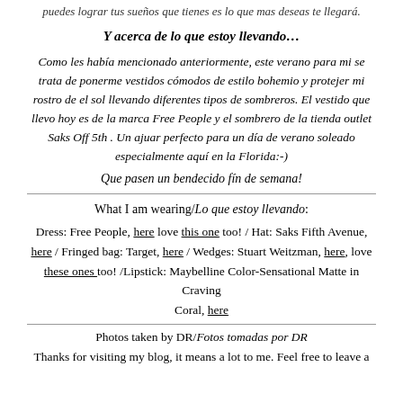puedes lograr tus sueños que tienes es lo que mas deseas te llegará.
Y acerca de lo que estoy llevando…
Como les había mencionado anteriormente, este verano para mi se trata de ponerme vestidos cómodos de estilo bohemio y protejer mi rostro de el sol llevando diferentes tipos de sombreros. El vestido que llevo hoy es de la marca Free People y el sombrero de la tienda outlet Saks Off 5th . Un ajuar perfecto para un día de verano soleado especialmente aquí en la Florida:-)
Que pasen un bendecido fín de semana!
What I am wearing/Lo que estoy llevando:
Dress: Free People, here love this one too! / Hat: Saks Fifth Avenue, here / Fringed bag: Target, here / Wedges: Stuart Weitzman, here, love these ones too! /Lipstick: Maybelline Color-Sensational Matte in Craving Coral, here
Photos taken by DR/Fotos tomadas por DR
Thanks for visiting my blog, it means a lot to me. Feel free to leave a